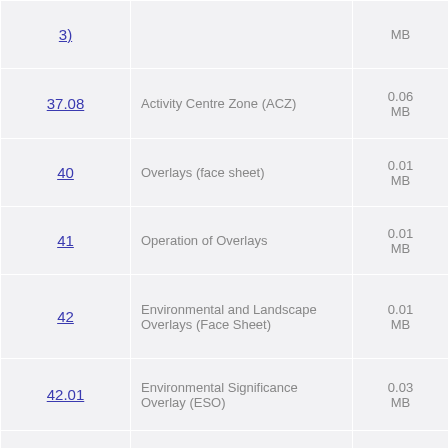| Number | Description | Size |
| --- | --- | --- |
| 3) |  | MB |
| 37.08 | Activity Centre Zone (ACZ) | 0.06 MB |
| 40 | Overlays (face sheet) | 0.01 MB |
| 41 | Operation of Overlays | 0.01 MB |
| 42 | Environmental and Landscape Overlays (Face Sheet) | 0.01 MB |
| 42.01 | Environmental Significance Overlay (ESO) | 0.03 MB |
| 42.02 | Vegetation Protection... | 0.02 |